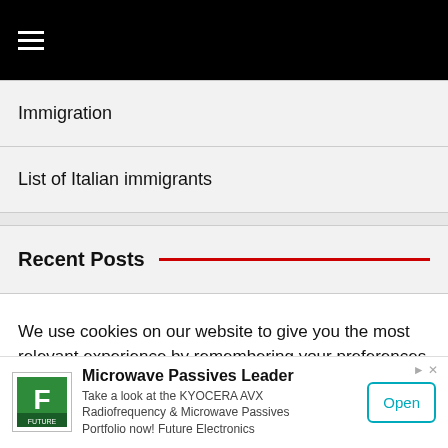≡
Immigration
List of Italian immigrants
Recent Posts
We use cookies on our website to give you the most relevant experience by remembering your preferences and repeat visits. By clicking "Accept All", you consent to the use of ALL the cookies. However, you may visit "Cookie
[Figure (advertisement): Future Electronics ad — Microwave Passives Leader. Take a look at the KYOCERA AVX Radiofrequency & Microwave Passives Portfolio now! Future Electronics. Open button.]